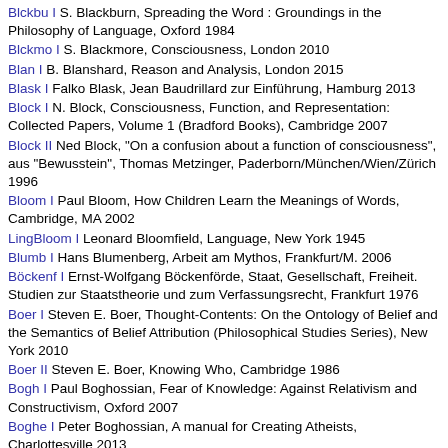Blckbu I S. Blackburn, Spreading the Word : Groundings in the Philosophy of Language, Oxford 1984
Blckmo I S. Blackmore, Consciousness, London 2010
Blan I B. Blanshard, Reason and Analysis, London 2015
Blask I Falko Blask, Jean Baudrillard zur Einführung, Hamburg 2013
Block I N. Block, Consciousness, Function, and Representation: Collected Papers, Volume 1 (Bradford Books), Cambridge 2007
Block II Ned Block, "On a confusion about a function of consciousness", aus "Bewusstein", Thomas Metzinger, Paderborn/München/Wien/Zürich 1996
Bloom I Paul Bloom, How Children Learn the Meanings of Words, Cambridge, MA 2002
LingBloom I Leonard Bloomfield, Language, New York 1945
Blumb I Hans Blumenberg, Arbeit am Mythos, Frankfurt/M. 2006
Böckenf I Ernst-Wolfgang Böckenförde, Staat, Gesellschaft, Freiheit. Studien zur Staatstheorie und zum Verfassungsrecht, Frankfurt 1976
Boer I Steven E. Boer, Thought-Contents: On the Ontology of Belief and the Semantics of Belief Attribution (Philosophical Studies Series), New York 2010
Boer II Steven E. Boer, Knowing Who, Cambridge 1986
Bogh I Paul Boghossian, Fear of Knowledge: Against Relativism and Constructivism, Oxford 2007
Boghe I Peter Boghossian, A manual for Creating Atheists, Charlottesville 2013
EconBöhm I Franz Böhm, Das Problem der privaten Macht, aus "Franz Böhm, Reden und Schriften" Karlsruhe 1970
Bo I N. Bolz, Kurze Geschichte des Scheins, München 1991
BonJ I L. BonJour, Epistemology: Classic Problems and Contemporary Responses, Lanham 2009
Boolo I G. Boolos, Computability and Logic Fifth Edition, Cambridge 2007
Bost I D. Bostock, Philosophy of Mathematics: An Introduction, Hoboken 2009
Bostrom I Nick Bostrom, Superintelligence. Paths, Dangers, Strategies,